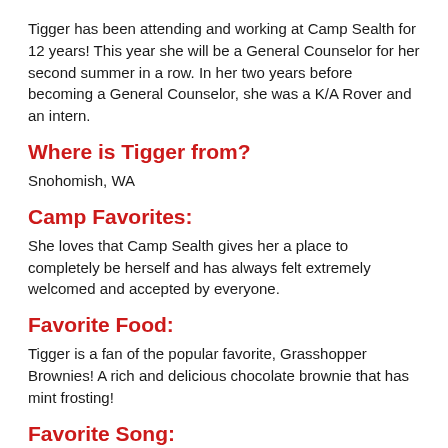Tigger has been attending and working at Camp Sealth for 12 years! This year she will be a General Counselor for her second summer in a row. In her two years before becoming a General Counselor, she was a K/A Rover and an intern.
Where is Tigger from?
Snohomish, WA
Camp Favorites:
She loves that Camp Sealth gives her a place to completely be herself and has always felt extremely welcomed and accepted by everyone.
Favorite Food:
Tigger is a fan of the popular favorite, Grasshopper Brownies! A rich and delicious chocolate brownie that has mint frosting!
Favorite Song: